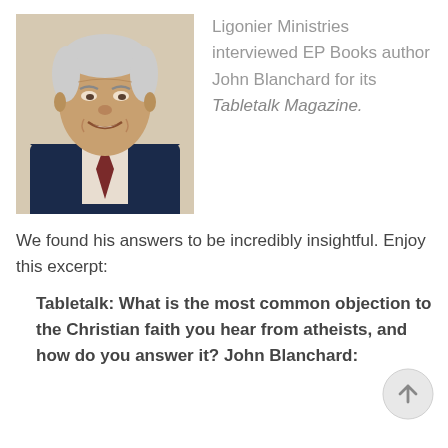[Figure (photo): Portrait photo of John Blanchard, an elderly man in a dark suit with a striped tie, smiling]
Ligonier Ministries interviewed EP Books author John Blanchard for its Tabletalk Magazine.
We found his answers to be incredibly insightful. Enjoy this excerpt:
Tabletalk: What is the most common objection to the Christian faith you hear from atheists, and how do you answer it? John Blanchard: